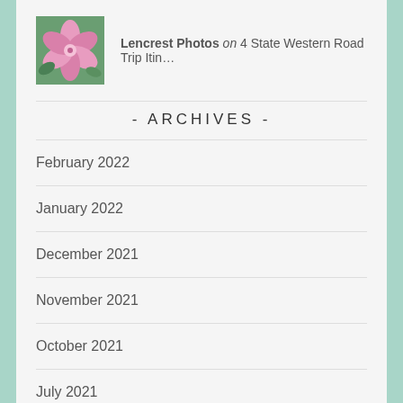[Figure (photo): Small square thumbnail of a pink flower (clematis or similar) against green background]
Lencrest Photos on 4 State Western Road Trip Itin…
- ARCHIVES -
February 2022
January 2022
December 2021
November 2021
October 2021
July 2021